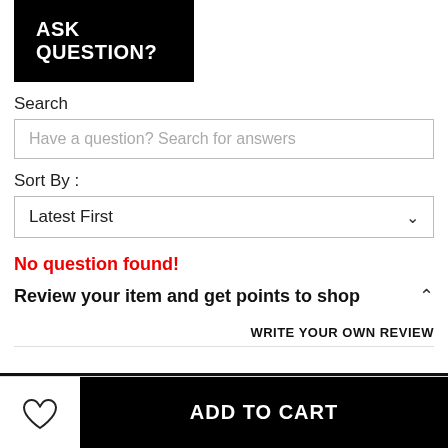ASK QUESTION?
Search
Have a question? Search for answers
Sort By :
Latest First
No question found!
Review your item and get points to shop
WRITE YOUR OWN REVIEW
ADD TO CART